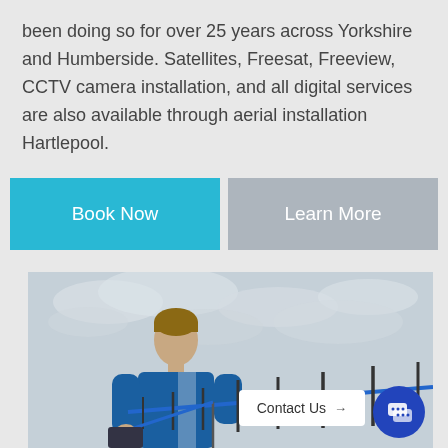been doing so for over 25 years across Yorkshire and Humberside. Satellites, Freesat, Freeview, CCTV camera installation, and all digital services are also available through aerial installation Hartlepool.
[Figure (screenshot): Two call-to-action buttons: a cyan 'Book Now' button and a grey 'Learn More' button side by side]
[Figure (photo): A male technician in a blue uniform holding a TV aerial/antenna against a cloudy sky background, with a 'Contact Us' label and chat bubble icon in the lower right]